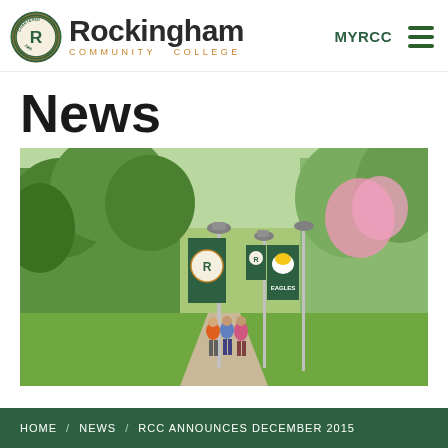Rockingham Community College — MYRCC navigation header
News
[Figure (photo): Campus walkway with green banner poles displaying RCC and Eagles logos, three people walking in background, trees with spring foliage and blooming pink trees]
HOME / NEWS / RCC ANNOUNCES DECEMBER 2015